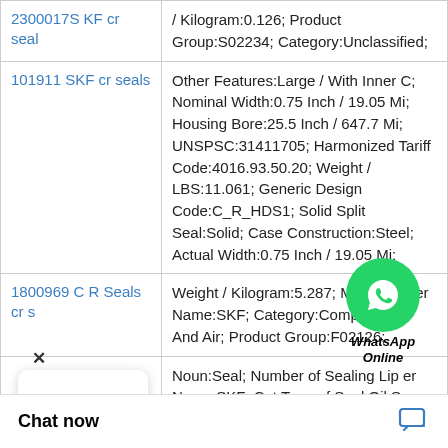| Product | Details |
| --- | --- |
| 2300017S KF cr seal | / Kilogram:0.126; Product Group:S02234; Category:Unclassified; |
| 101911 SKF cr seals | Other Features:Large / With Inner C; Nominal Width:0.75 Inch / 19.05 Mi; Housing Bore:25.5 Inch / 647.7 Mi; UNSPSC:31411705; Harmonized Tariff Code:4016.93.50.20; Weight / LBS:11.061; Generic Design Code:C_R_HDS1; Solid Split Seal:Solid; Case Construction:Steel; Actual Width:0.75 Inch / 19.05 Mi; |
| 1800969 C R Seals cr s | Weight / Kilogram:5.287; Manufacturer Name:SKF; Category:Compressors And Air; Product Group:F02126; |
|  | Noun:Seal; Number of Sealing Lip er Name:SKF; Cat Type of Seal:Oil S |
[Figure (illustration): WhatsApp Online chat widget overlay with green circle icon and italic bold text 'WhatsApp Online']
Chat now